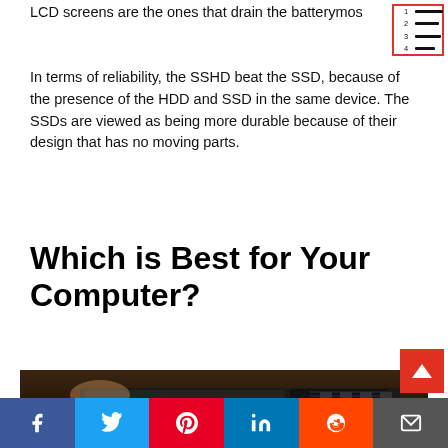LCD screens are the ones that drain the battery most
[Figure (other): Table of contents icon with red border showing numbered list lines]
In terms of reliability, the SSHD beat the SSD, because of the presence of the HDD and SSD in the same device. The SSDs are viewed as being more durable because of their design that has no moving parts.
Which is Best for Your Computer?
[Figure (photo): Close-up photo of a Samsung NVMe SSD 960 PRO 1TB being inserted into a motherboard]
[Figure (other): Social media share bar with Facebook, Twitter, Pinterest, LinkedIn, Reddit, and Email buttons]